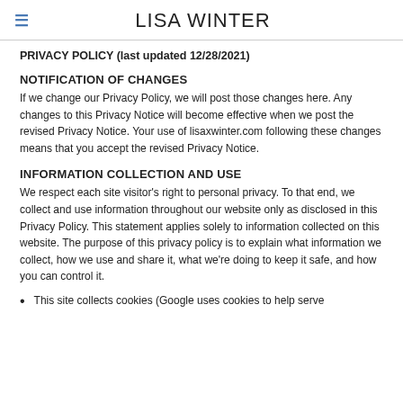LISA WINTER
PRIVACY POLICY (last updated 12/28/2021)
NOTIFICATION OF CHANGES
If we change our Privacy Policy, we will post those changes here. Any changes to this Privacy Notice will become effective when we post the revised Privacy Notice. Your use of lisaxwinter.com following these changes means that you accept the revised Privacy Notice.
INFORMATION COLLECTION AND USE
We respect each site visitor's right to personal privacy. To that end, we collect and use information throughout our website only as disclosed in this Privacy Policy. This statement applies solely to information collected on this website. The purpose of this privacy policy is to explain what information we collect, how we use and share it, what we're doing to keep it safe, and how you can control it.
This site collects cookies (Google uses cookies to help serve